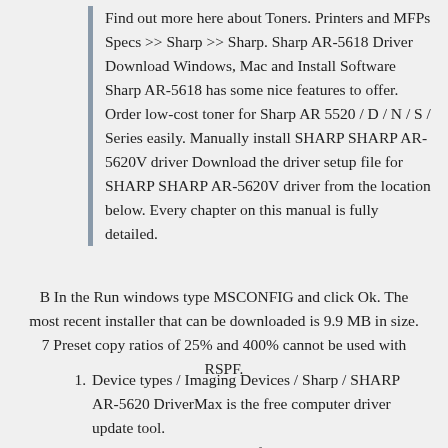Find out more here about Toners. Printers and MFPs Specs >> Sharp >> Sharp. Sharp AR-5618 Driver Download Windows, Mac and Install Software Sharp AR-5618 has some nice features to offer. Order low-cost toner for Sharp AR 5520 / D / N / S / Series easily. Manually install SHARP SHARP AR-5620V driver Download the driver setup file for SHARP SHARP AR-5620V driver from the location below. Every chapter on this manual is fully detailed.
B In the Run windows type MSCONFIG and click Ok. The most recent installer that can be downloaded is 9.9 MB in size. 7 Preset copy ratios of 25% and 400% cannot be used with RSPF.
Device types / Imaging Devices / Sharp / SHARP AR-5620 DriverMax is the free computer driver update tool.
Manuals and User Guides for Sharp AR-5620N.
INTE LBACTLM This manual describes the about...